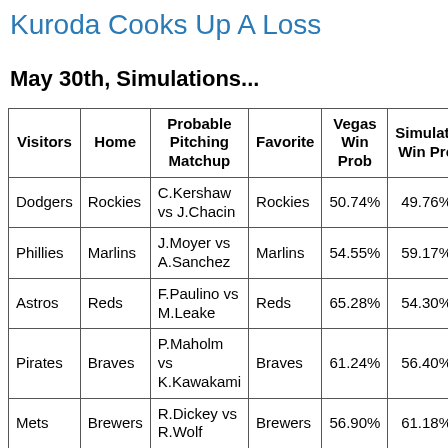Kuroda Cooks Up A Loss
May 30th, Simulations...
| Visitors | Home | Probable Pitching Matchup | Favorite | Vegas Win Prob | Simulated Win Prob |
| --- | --- | --- | --- | --- | --- |
| Dodgers | Rockies | C.Kershaw vs J.Chacin | Rockies | 50.74% | 49.76% |
| Phillies | Marlins | J.Moyer vs A.Sanchez | Marlins | 54.55% | 59.17% |
| Astros | Reds | F.Paulino vs M.Leake | Reds | 65.28% | 54.30% |
| Pirates | Braves | P.Maholm vs K.Kawakami | Braves | 61.24% | 56.40% |
| Mets | Brewers | R.Dickey vs R.Wolf | Brewers | 56.90% | 61.18% |